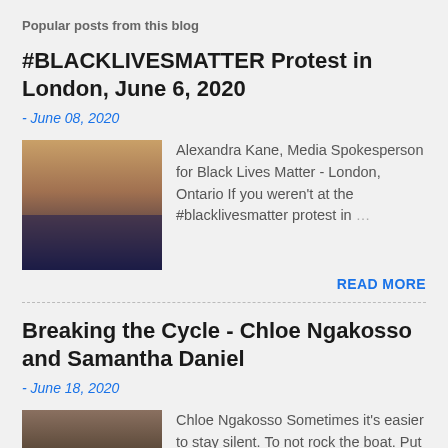Popular posts from this blog
#BLACKLIVESMATTER Protest in London, June 6, 2020
- June 08, 2020
[Figure (photo): Photo of Alexandra Kane, Media Spokesperson for Black Lives Matter - London, Ontario, speaking with hands raised]
Alexandra Kane, Media Spokesperson for Black Lives Matter - London, Ontario If you weren't at the #blacklivesmatter protest in …
READ MORE
Breaking the Cycle - Chloe Ngakosso and Samantha Daniel
- June 18, 2020
[Figure (photo): Photo of an owl]
Chloe Ngakosso Sometimes it's easier to stay silent. To not rock the boat. Put your head…